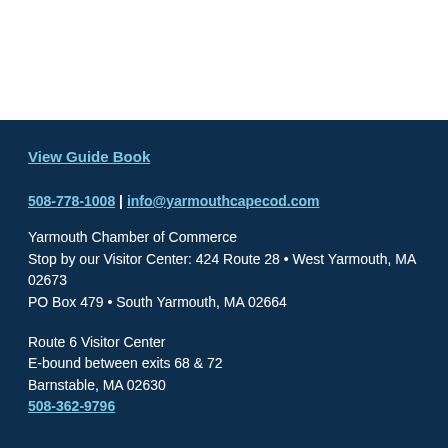View Guide Book
508-778-1008 | info@yarmouthcapecod.com
Yarmouth Chamber of Commerce
Stop by our Visitor Center: 424 Route 28 • West Yarmouth, MA 02673
PO Box 479 • South Yarmouth, MA 02664
Route 6 Visitor Center
E-bound between exits 68 & 72
Barnstable, MA 02630
508-362-9796